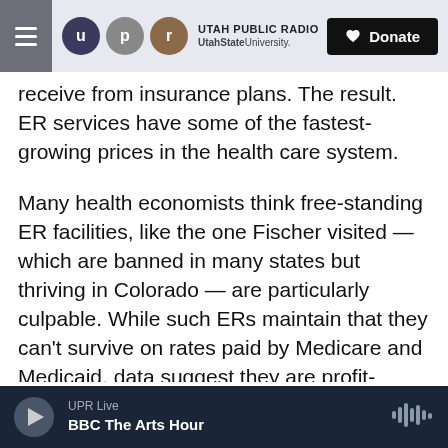UTAH PUBLIC RADIO | Utah State University | Donate
receive from insurance plans. The result. ER services have some of the fastest-growing prices in the health care system.
Many health economists think free-standing ER facilities, like the one Fischer visited — which are banned in many states but thriving in Colorado — are particularly culpable. While such ERs maintain that they can't survive on rates paid by Medicare and Medicaid, data suggest they are profit-seeking engines built primarily in high-income ZIP codes.
"It's because they've figured out that they can get away with it," says Vivian Ho, an economist with the
UPR Live | BBC The Arts Hour